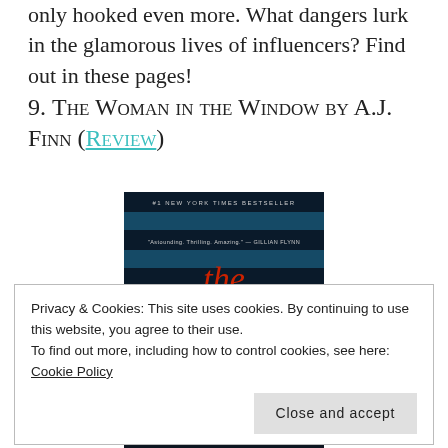only hooked even more. What dangers lurk in the glamorous lives of influencers? Find out in these pages!
9. The Woman in the Window by A.J. Finn (REVIEW)
[Figure (photo): Book cover of 'The Woman in the Window' by A.J. Finn, showing the title in red letters on a dark background, with '#1 New York Times Bestseller' and a Gillian Flynn quote at the top.]
Privacy & Cookies: This site uses cookies. By continuing to use this website, you agree to their use.
To find out more, including how to control cookies, see here: Cookie Policy
[Figure (photo): Bottom portion of the book cover showing 'A.J. Finn' text on a dark background.]